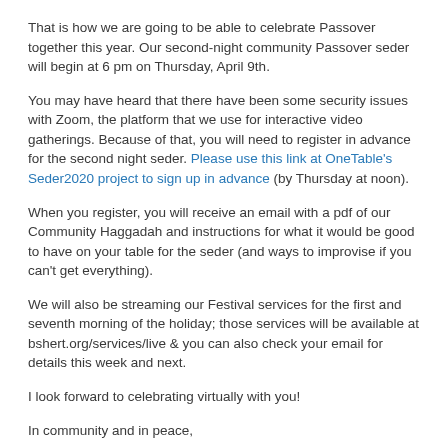That is how we are going to be able to celebrate Passover together this year. Our second-night community Passover seder will begin at 6 pm on Thursday, April 9th.
You may have heard that there have been some security issues with Zoom, the platform that we use for interactive video gatherings. Because of that, you will need to register in advance for the second night seder. Please use this link at OneTable's Seder2020 project to sign up in advance (by Thursday at noon).
When you register, you will receive an email with a pdf of our Community Haggadah and instructions for what it would be good to have on your table for the seder (and ways to improvise if you can't get everything).
We will also be streaming our Festival services for the first and seventh morning of the holiday; those services will be available at bshert.org/services/live & you can also check your email for details this week and next.
I look forward to celebrating virtually with you!
In community and in peace,
Rabbi...